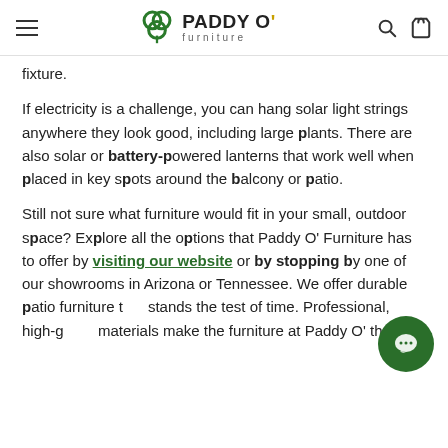PADDY O' furniture
fixture.
If electricity is a challenge, you can hang solar light strings anywhere they look good, including large plants. There are also solar or battery-powered lanterns that work well when placed in key spots around the balcony or patio.
Still not sure what furniture would fit in your small, outdoor space? Explore all the options that Paddy O' Furniture has to offer by visiting our website or by stopping by one of our showrooms in Arizona or Tennessee. We offer durable patio furniture that stands the test of time. Professional, high-grade materials make the furniture at Paddy O' the right